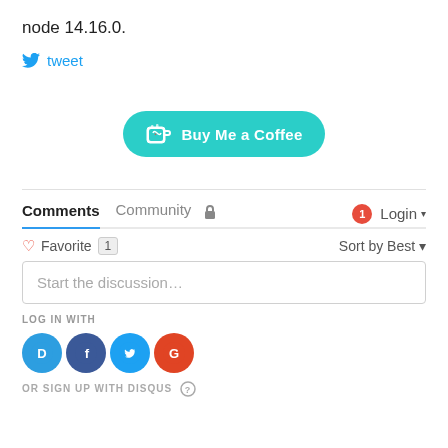node 14.16.0.
tweet
[Figure (other): Buy Me a Coffee button with teal background and coffee cup icon]
Comments  Community  🔒  1  Login
♡ Favorite  1    Sort by Best
Start the discussion...
LOG IN WITH
[Figure (other): Social login icons: Disqus (D), Facebook (F), Twitter (bird), Google (G)]
OR SIGN UP WITH DISQUS